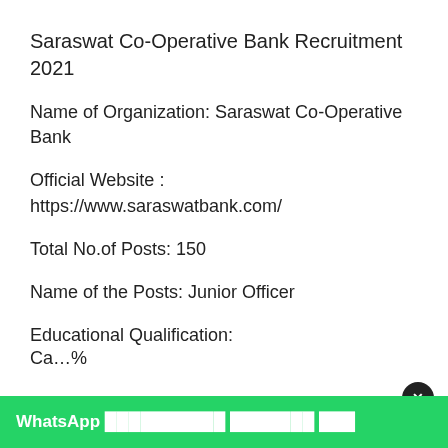Saraswat Co-Operative Bank Recruitment 2021
Name of Organization: Saraswat Co-Operative Bank
Official Website : https://www.saraswatbank.com/
Total No.of Posts: 150
Name of the Posts: Junior Officer
Educational Qualification:
Ca...%
[Figure (screenshot): WhatsApp promotional banner overlay at the bottom of the page with close button]